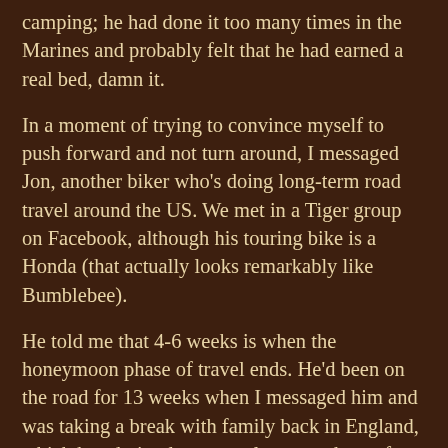camping; he had done it too many times in the Marines and probably felt that he had earned a real bed, damn it.
In a moment of trying to convince myself to push forward and not turn around, I messaged Jon, another biker who's doing long-term road travel around the US. We met in a Tiger group on Facebook, although his touring bike is a Honda (that actually looks remarkably like Bumblebee).
He told me that 4-6 weeks is when the honeymoon phase of travel ends. He'd been on the road for 13 weeks when I messaged him and was taking a break with family back in England, which he admitted was a welcome recharge from the mental toll the road takes. His goal is to hit all 50 US states and his blog (On Your Bike Tours) gives him an "obligation" to visit interesting places. Reading through the blog, a difference in our travel styles caught my attention: he seeks out locals and asks for things to do, using the internet only as a last resort. This is the opposite of the way I've been doing things, and the next time we land in a new town I think I'm going to try it that way. It may be a little different for us girls, but we can certainly take care of ourselves, so I'm